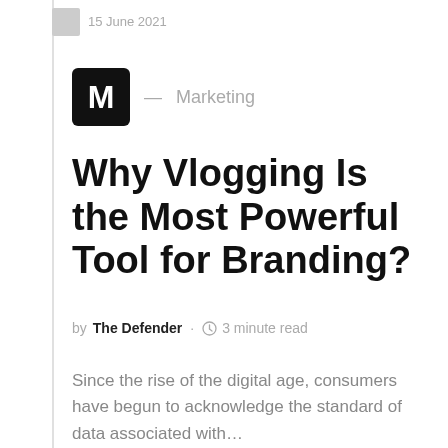15 June 2021
[Figure (logo): Black rounded square logo with white letter M, followed by em-dash and the word Marketing in gray]
Why Vlogging Is the Most Powerful Tool for Branding?
by The Defender · 3 minute read
Since the rise of the digital age, consumers have begun to acknowledge the standard of data associated with…